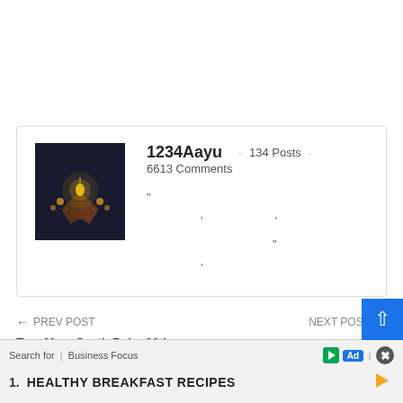[Figure (photo): User profile card for 1234Aayu showing a profile photo of an open book with glowing lights, username, post count, comment count, and a short quote.]
1234Aayu · 134 Posts · 6613 Comments
"
                    '               '
                                 "
               '
← PREV POST
Tera Mera Saath Rahe 30th August 2021 Written Episode Update: Gopi... Sha...
NEXT POST →
Rishton Ka Manjha 30th August 2021 Written Episode Update
[Figure (screenshot): Advertisement overlay at the bottom of the page: 'Search for | Business Focus' with 'HEALTHY BREAKFAST RECIPES' as the first search item, alongside ad badge and close button.]